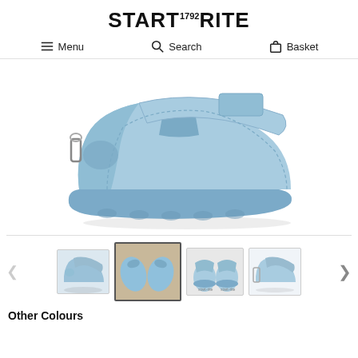START 1792 RITE
Menu   Search   Basket
[Figure (photo): Side profile of a light blue children's leather shoe with velcro strap and animal appliqué on the toe, white background]
[Figure (photo): Thumbnail row showing four different views of the same blue children's shoe: side view, pair from above on wooden surface, front view pair, side view smaller]
Other Colours